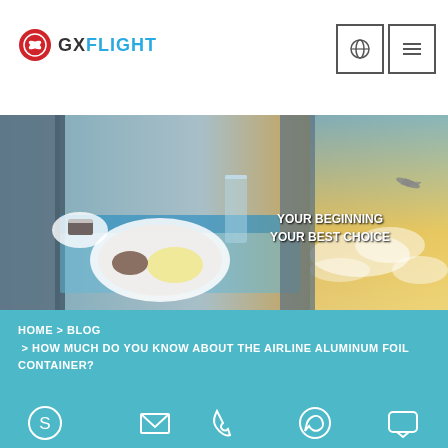[Figure (logo): GXFlight logo — red circular emblem with white wing/propeller design, followed by bold text GXFLIGHT in dark and cyan colors]
[Figure (screenshot): Navigation icons: globe/language selector icon in a box and hamburger menu icon in a box]
[Figure (photo): Airline food tray hero image showing white plates with food, a glass of water, and blue napkins on an airplane tray table. Text overlay on right: YOUR BEGINNING YOUR BEST CHOICE. Airplane and clouds visible on far right.]
HOME > BLOG
 > HOW MUCH DO YOU KNOW ABOUT THE AIRLINE ALUMINUM FOIL CONTAINER?
How Much Do You Know About the Airline Aluminum Foil Container?
[Figure (infographic): Bottom contact bar with 5 icons: Skype, email/envelope, phone, WhatsApp, chat bubble]